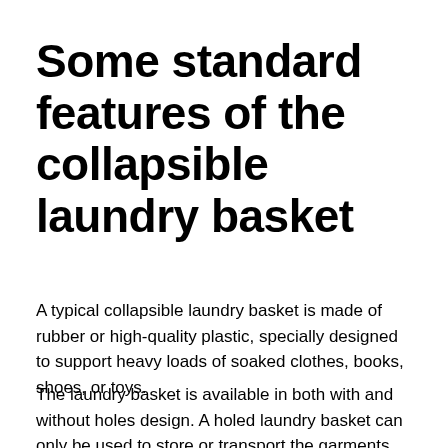Some standard features of the collapsible laundry basket
A typical collapsible laundry basket is made of rubber or high-quality plastic, specially designed to support heavy loads of soaked clothes, books, shoes, or toys.
The laundry basket is available in both with and without holes design. A holed laundry basket can only be used to store or transport the garments while a laundry